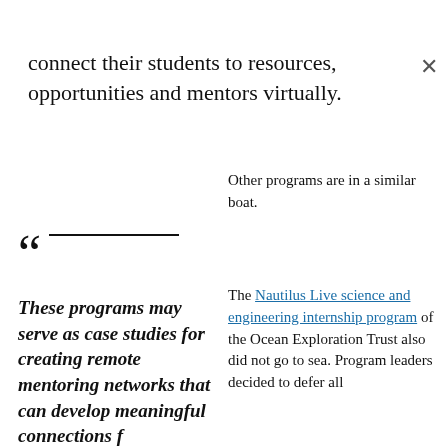connect their students to resources, opportunities and mentors virtually.
Other programs are in a similar boat.
These programs may serve as case studies for creating remote mentoring networks that can develop meaningful connections for students in times of
The Nautilus Live science and engineering internship program of the Ocean Exploration Trust also did not go to sea. Program leaders decided to defer all